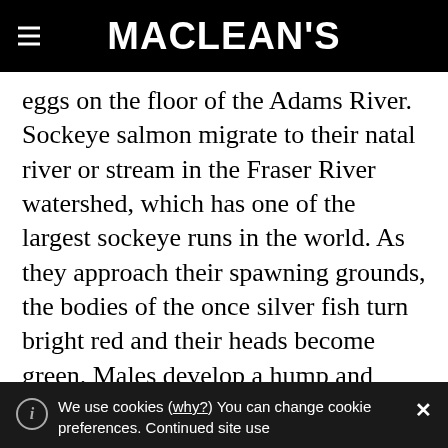MACLEAN'S
eggs on the floor of the Adams River. Sockeye salmon migrate to their natal river or stream in the Fraser River watershed, which has one of the largest sockeye runs in the world. As they approach their spawning grounds, the bodies of the once silver fish turn bright red and their heads become green. Males develop a hump and hooked jaws, which play a role in competition and establishing hierarchies. Shortly after laying and fertilizing eggs, the salmon die
We use cookies (why?) You can change cookie preferences. Continued site use